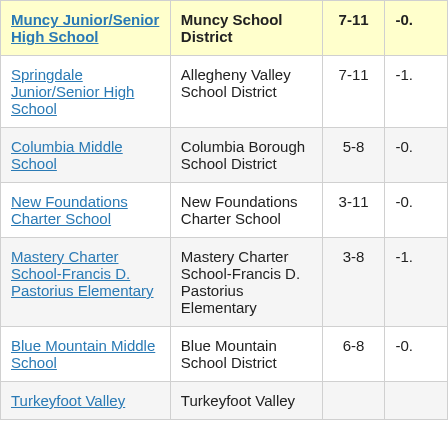| School | District | Grades | Score |
| --- | --- | --- | --- |
| Muncy Junior/Senior High School | Muncy School District | 7-11 | -0. |
| Springdale Junior/Senior High School | Allegheny Valley School District | 7-11 | -1. |
| Columbia Middle School | Columbia Borough School District | 5-8 | -0. |
| New Foundations Charter School | New Foundations Charter School | 3-11 | -0. |
| Mastery Charter School-Francis D. Pastorius Elementary | Mastery Charter School-Francis D. Pastorius Elementary | 3-8 | -1. |
| Blue Mountain Middle School | Blue Mountain School District | 6-8 | -0. |
| Turkeyfoot Valley | Turkeyfoot Valley |  |  |